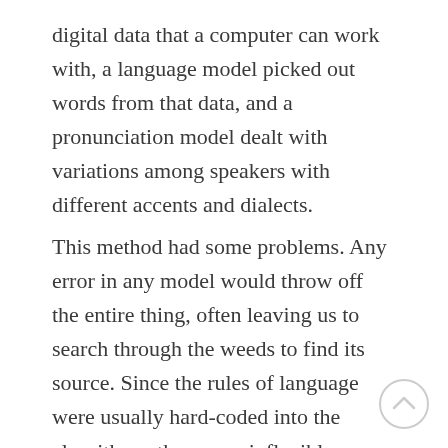digital data that a computer can work with, a language model picked out words from that data, and a pronunciation model dealt with variations among speakers with different accents and dialects.
This method had some problems. Any error in any model would throw off the entire thing, often leaving us to search through the weeds to find its source. Since the rules of language were usually hard-coded into the algorithms, they were inflexible. When we combine the ever-evolving nature of language with immense variations in ways of speaking, we were